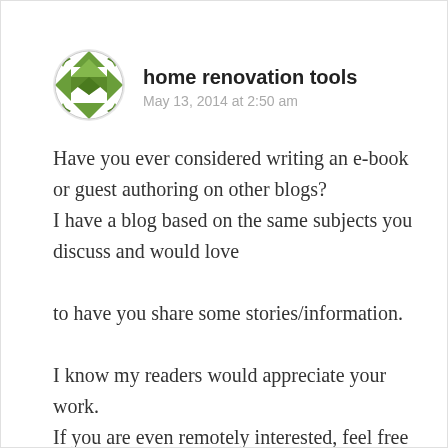[Figure (illustration): Round avatar with green geometric/diamond quilt pattern on white background]
home renovation tools
May 13, 2014 at 2:50 am
Have you ever considered writing an e-book or guest authoring on other blogs?
I have a blog based on the same subjects you discuss and would love
to have you share some stories/information.
I know my readers would appreciate your work.
If you are even remotely interested, feel free to shoot me an email.
★ Like
↪ Reply